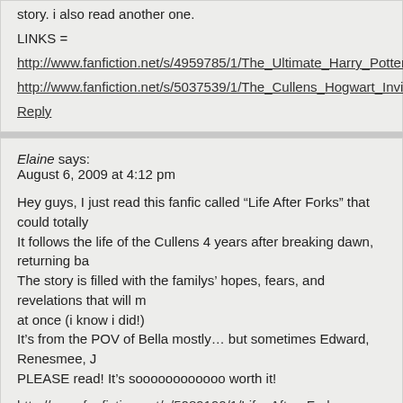story. i also read another one.
LINKS =
http://www.fanfiction.net/s/4959785/1/The_Ultimate_Harry_Potter_Twilig...
http://www.fanfiction.net/s/5037539/1/The_Cullens_Hogwart_Invite
Reply
Elaine says:
August 6, 2009 at 4:12 pm
Hey guys, I just read this fanfic called “Life After Forks” that could totally … It follows the life of the Cullens 4 years after breaking dawn, returning ba… The story is filled with the familys’ hopes, fears, and revelations that will m… at once (i know i did!)
It’s from the POV of Bella mostly… but sometimes Edward, Renesmee, J…
PLEASE read! It’s soooooooooooo worth it!
http://www.fanfiction.net/s/5089190/1/Life_After_Forks
Reply